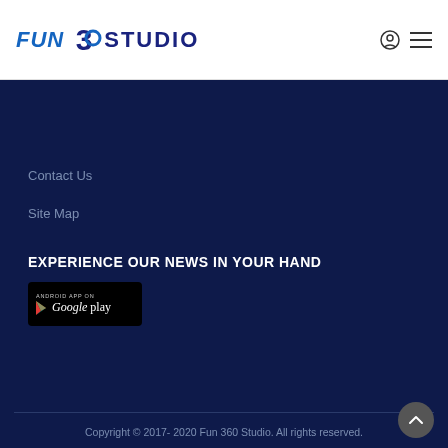FUN 360 STUDIO
Contact Us
Site Map
EXPERIENCE OUR NEWS IN YOUR HAND
[Figure (logo): Android App on Google Play badge]
Copyright © 2017- 2020 Fun 360 Studio. All rights reserved. Privacy Policy | Disclaimer